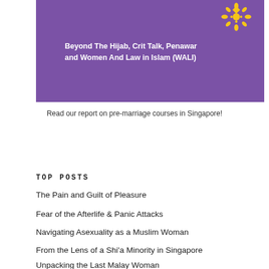[Figure (illustration): Purple banner with decorative gold/yellow floral logo in top right and white bold text reading 'Beyond The Hijab, Crit Talk, Penawar and Women And Law in Islam (WALI)']
Read our report on pre-marriage courses in Singapore!
TOP POSTS
The Pain and Guilt of Pleasure
Fear of the Afterlife & Panic Attacks
Navigating Asexuality as a Muslim Woman
From the Lens of a Shi'a Minority in Singapore
Unpacking the Last Malay Woman